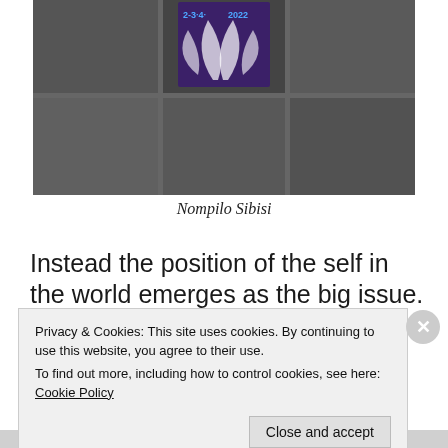[Figure (photo): Photo of dark ceramic floor tiles arranged in a 3x2 grid pattern with grout lines. One tile in the top middle has a purple/blue artistic stamp or sticker with palm frond designs and text reading '2022'.]
Nompilo Sibisi
Instead the position of the self in the world emerges as the big issue.
Privacy & Cookies: This site uses cookies. By continuing to use this website, you agree to their use.
To find out more, including how to control cookies, see here: Cookie Policy